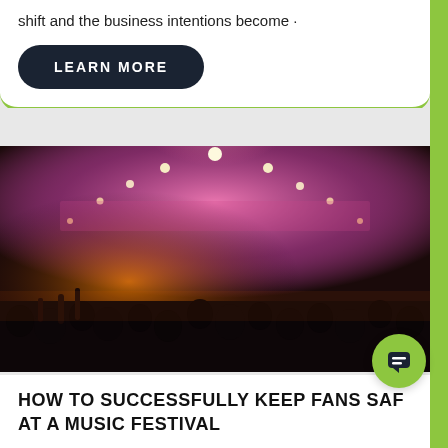shift and the business intentions become ·
LEARN MORE
[Figure (photo): Concert crowd photo with colorful pink and orange stage lights at a music festival, silhouettes of audience members with raised hands]
Got any questions? I'm happy to help.
HOW TO SUCCESSFULLY KEEP FANS SAFE AT A MUSIC FESTIVAL